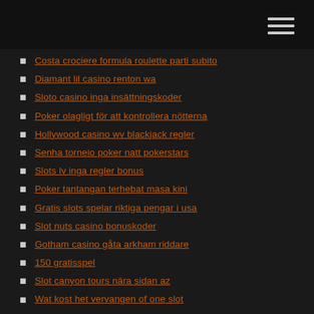Costa crociere formula roulette parti subito
Diamant lil casino renton wa
Sloto casino inga insättningskoder
Poker olagligt för att kontrollera nötterna
Hollywood casino wv blackjack regler
Senha torneio poker natt pokerstars
Slots lv inga regler bonus
Poker tantangan terhebat masa kini
Gratis slots spelar riktiga pengar i usa
Slot nuts casino bonuskoder
Gotham casino gåta arkham riddare
150 gratisspel
Slot canyon tours nära sidan az
Wat kost het vervangen of one slot